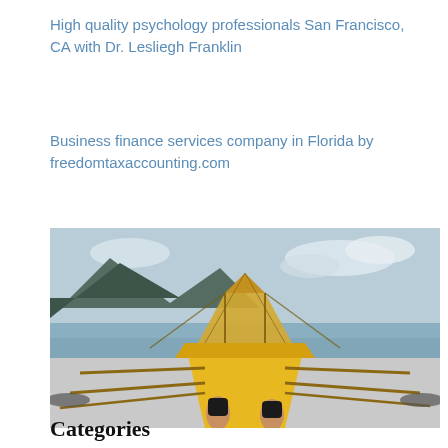High quality psychology professionals San Francisco, CA with Dr. Lesliegh Franklin
Business finance services company in Florida by freedomtaxaccounting.com
[Figure (photo): View from the bow of a traditional Filipino outrigger boat (bangka) on the water, with mountains in the background, a thatched canopy visible, and the feet of passengers resting on the yellow wooden hull.]
Categories